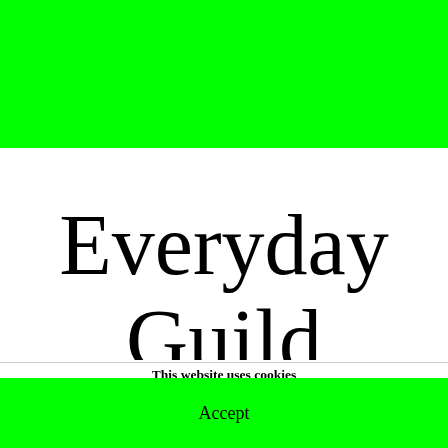[Figure (other): Bright green banner bar at the top of the page]
Everyday
Guild
This website uses cookies
This site uses cookies to help make it more useful to you. Please contact us to find out more about our Cookie Policy.
Manage cookies
Accept